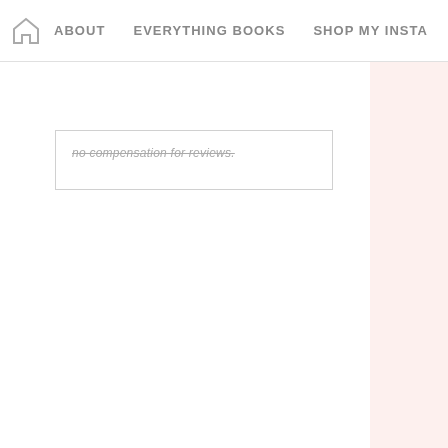Home | ABOUT | EVERYTHING BOOKS | SHOP MY INSTA
no compensation for reviews.